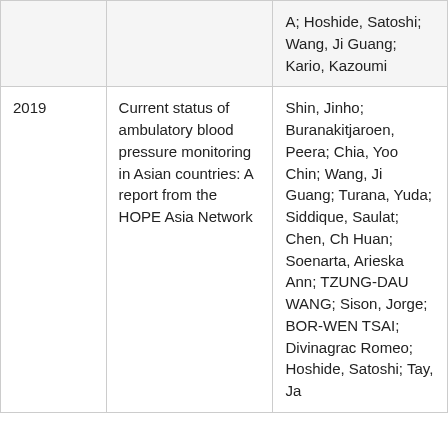|  |  | A; Hoshide, Satoshi; Wang, Ji Guang; Kario, Kazoumi |
| 2019 | Current status of ambulatory blood pressure monitoring in Asian countries: A report from the HOPE Asia Network | Shin, Jinho; Buranakitjaroen, Peera; Chia, Yook Chin; Wang, Ji Guang; Turana, Yuda; Siddique, Saulat; Chen, Che Huan; Soenarta, Arieska Ann; TZUNG-DAU WANG; Sison, Jorge; BOR-WEN TSAI; Divinagracia, Romeo; Hoshide, Satoshi; Tay, Jan |